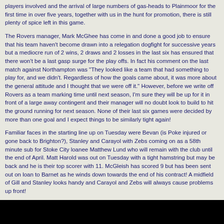players involved and the arrival of large numbers of gas-heads to Plainmoor for the first time in over five years, together with us in the hunt for promotion, there is still plenty of spice left in this game.
The Rovers manager, Mark McGhee has come in and done a good job to ensure that his team haven't become drawn into a relegation dogfight for successive years but a mediocre run of 2 wins, 2 draws and 2 losses in the last six has ensured that there won't be a last gasp surge for the play offs. In fact his comment on the last match against Northampton was "They looked like a team that had something to play for, and we didn't. Regardless of how the goals came about, it was more about the general attitude and I thought that we were off it." However, before we write off Rovers as a team marking time until next season, I'm sure they will be up for it in front of a large away contingent and their manager will no doubt look to build to hit the ground running for next season. None of their last six games were decided by more than one goal and I expect things to be similarly tight again!
Familiar faces in the starting line up on Tuesday were Bevan (is Poke injured or gone back to Brighton?), Stanley and Carayol with Zebs coming on as a 58th minute sub for Stoke City loanee Matthew Lund who will remain with the club until the end of April. Matt Harold was out on Tuesday with a tight hamstring but may be back and he is their top scorer with 11. McGleish has scored 9 but has been sent out on loan to Barnet as he winds down towards the end of his contract! A midfield of Gill and Stanley looks handy and Carayol and Zebs will always cause problems up front!